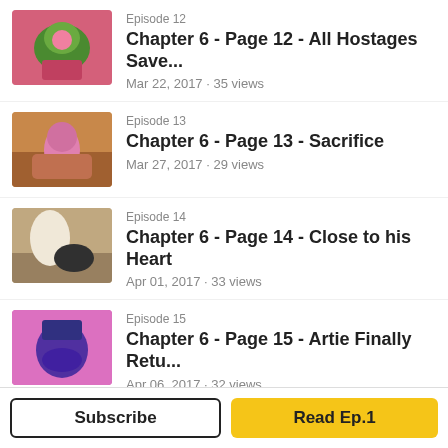Episode 12 · Chapter 6 - Page 12 - All Hostages Save... · Mar 22, 2017 · 35 views
Episode 13 · Chapter 6 - Page 13 - Sacrifice · Mar 27, 2017 · 29 views
Episode 14 · Chapter 6 - Page 14 - Close to his Heart · Apr 01, 2017 · 33 views
Episode 15 · Chapter 6 - Page 15 - Artie Finally Retu... · Apr 06, 2017 · 32 views
Episode 16 · Chapter 6 - Page 16 - Plotting Somethi... · Apr 11, 2017 · 35 views
Episode 17 · Chapter 6 - Page 17 - Forgot to Heal Sp...